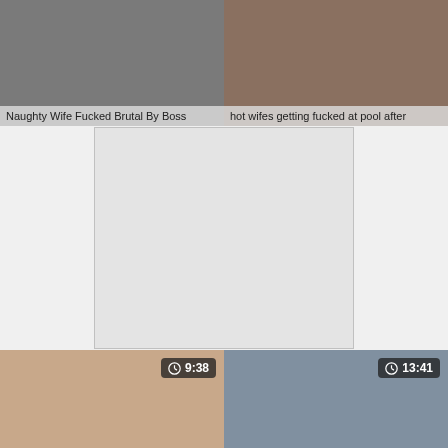[Figure (screenshot): Video thumbnail: Naughty Wife Fucked Brutal By Boss]
Naughty Wife Fucked Brutal By Boss
[Figure (screenshot): Video thumbnail: hot wifes getting fucked at pool after]
hot wifes getting fucked at pool after
[Figure (screenshot): Advertisement placeholder box]
[Figure (screenshot): Video thumbnail with duration 9:38]
[Figure (screenshot): Video thumbnail with duration 13:41]